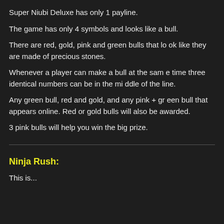Super Niubi Deluxe has only 1 payline.
The game has only 4 symbols and looks like a bull.
There are red, gold, pink and green bulls that look like they are made of precious stones.
Whenever a player can make a bull at the same time three identical numbers can be in the middle of the line.
Any green bull, red and gold, and any pink + green bull that appears online. Red or gold bulls will also be awarded.
3 pink bulls will help you win the big prize.
Ninja Rush:
This is...